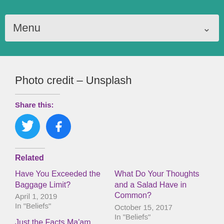Menu
Photo credit – Unsplash
Share this:
[Figure (other): Twitter and Facebook social share icon buttons (blue circles with white icons)]
Related
Have You Exceeded the Baggage Limit?
April 1, 2019
In "Beliefs"
What Do Your Thoughts and a Salad Have in Common?
October 15, 2017
In "Beliefs"
Just the Facts Ma'am
November 12, 2017